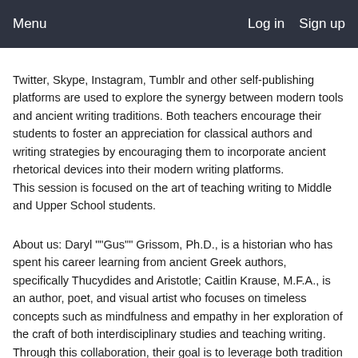Menu    Log in   Sign up
Twitter, Skype, Instagram, Tumblr and other self-publishing platforms are used to explore the synergy between modern tools and ancient writing traditions. Both teachers encourage their students to foster an appreciation for classical authors and writing strategies by encouraging them to incorporate ancient rhetorical devices into their modern writing platforms.
This session is focused on the art of teaching writing to Middle and Upper School students.
About us: Daryl ""Gus"" Grissom, Ph.D., is a historian who has spent his career learning from ancient Greek authors, specifically Thucydides and Aristotle; Caitlin Krause, M.F.A., is an author, poet, and visual artist who focuses on timeless concepts such as mindfulness and empathy in her exploration of the craft of both interdisciplinary studies and teaching writing. Through this collaboration, their goal is to leverage both tradition and technology to allow students to